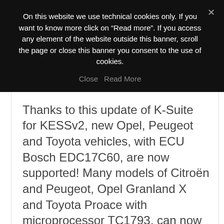On this website we use technical cookies only. If you want to know more click on “Read more”. If you access any element of the website outside this banner, scroll the page or close this banner you consent to the use of cookies.
Close   Read More
Thanks to this update of K-Suite for KESSv2, new Opel, Peugeot and Toyota vehicles, with ECU Bosch EDC17C60, are now supported! Many models of Citroën and Peugeot, Opel Granland X and Toyota Proace with microprocessor TC1793, can now be read...
READ MORE